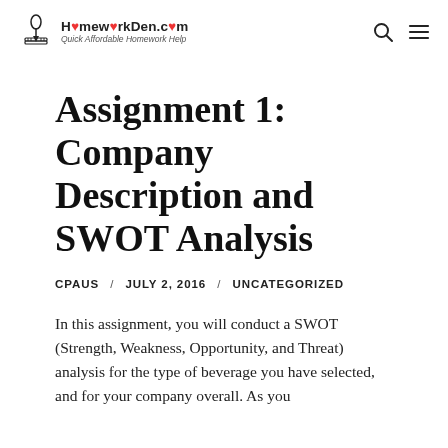HomeworkDen.com — Quick Affordable Homework Help
Assignment 1: Company Description and SWOT Analysis
CPAUS / JULY 2, 2016 / UNCATEGORIZED
In this assignment, you will conduct a SWOT (Strength, Weakness, Opportunity, and Threat) analysis for the type of beverage you have selected, and for your company overall. As you